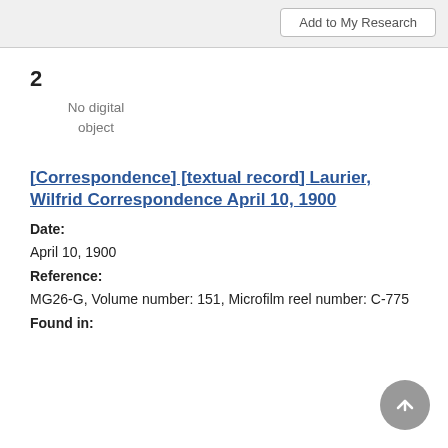Add to My Research
2
No digital object
[Correspondence] [textual record] Laurier, Wilfrid Correspondence April 10, 1900
Date: April 10, 1900
Reference: MG26-G, Volume number: 151, Microfilm reel number: C-775
Found in: